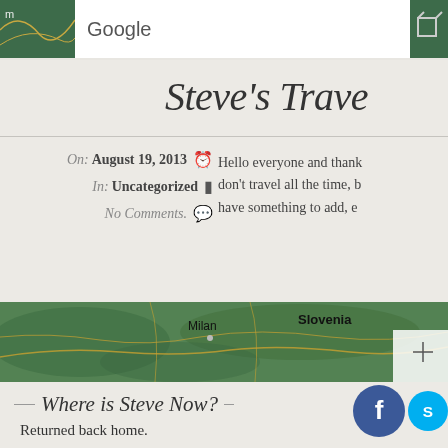Google
Steve's Trave
On: August 19, 2013  In: Uncategorized  No Comments.
Hello everyone and thank you... don't travel all the time, bu... have something to add, e...
[Figure (map): Google map showing Milan and Slovenia region with terrain]
Where is Steve Now?
Returned back home.